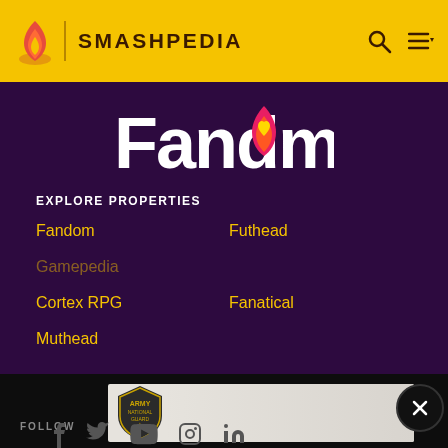SMASHPEDIA
[Figure (logo): Fandom logo with flame icon and heart, white text on dark purple background]
EXPLORE PROPERTIES
Fandom
Futhead
Cortex RPG
Fanatical
Muthead
FOLLOW
[Figure (infographic): Army National Guard advertisement banner with badge logo]